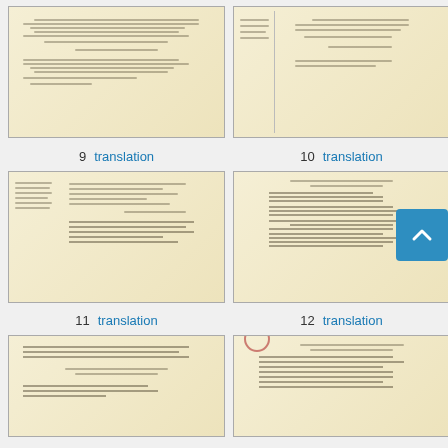[Figure (photo): Scanned Russian handwritten document page, thumbnail 9]
[Figure (photo): Scanned Russian handwritten document page, thumbnail 10]
9   translation
10   translation
[Figure (photo): Scanned Russian typed/handwritten document page, thumbnail 11]
[Figure (photo): Scanned Russian typed document page, thumbnail 12]
11   translation
12   translation
[Figure (photo): Scanned Russian typed document page, thumbnail 13]
[Figure (photo): Scanned Russian official document with red stamp, thumbnail 14]